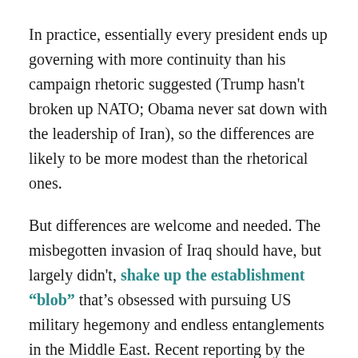In practice, essentially every president ends up governing with more continuity than his campaign rhetoric suggested (Trump hasn't broken up NATO; Obama never sat down with the leadership of Iran), so the differences are likely to be more modest than the rhetorical ones.
But differences are welcome and needed. The misbegotten invasion of Iraq should have, but largely didn't, shake up the establishment "blob" that's obsessed with pursuing US military hegemony and endless entanglements in the Middle East. Recent reporting by the Washington Post revealed that military and political leaders across three administrations have been lying to the public about the course of the war in Afghanistan — and it barely made a dent in domestic politics.